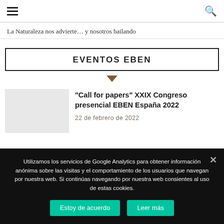☰ [menu] ... [search]
La Naturaleza nos advierte… y nosotros bailando
EVENTOS EBEN
"Call for papers" XXIX Congreso presencial EBEN España 2022
22 de febrero de 2022
Utilizamos los servicios de Google Analytics para obtener información anónima sobre las visitas y el comportamiento de los usuarios que navegan por nuestra web. Si continúas navegando por nuestra web consientes al uso de estas cookies.
Estoy de acuerdo
Leer más